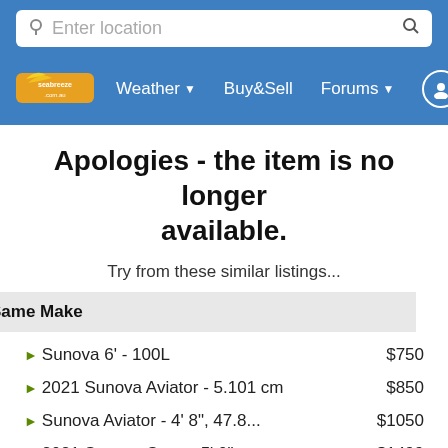seabreeze.com.au — Weather, Buy&Sell, Forums navigation
Apologies - the item is no longer available.
Try from these similar listings...
| Same Make | Price |
| --- | --- |
| Sunova 6' - 100L | $750 |
| 2021 Sunova Aviator - 5.101 cm | $850 |
| Sunova Aviator - 4' 8", 47.8... | $1050 |
| 2021 Sunova Suns - 5' 0" | $1499 |
| 2021 Sunova Suns Aviator Wing | $999 |